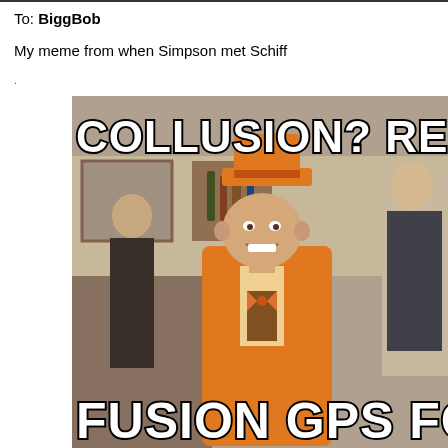To: BiggBob
My meme from when Simpson met Schiff
[Figure (photo): Meme image showing a man in an orange suit and orange top hat with text 'COLLUSION? REP. ADA...' at the top and 'FUSION GPS FO...' at the bottom, styled as a movie screenshot meme]